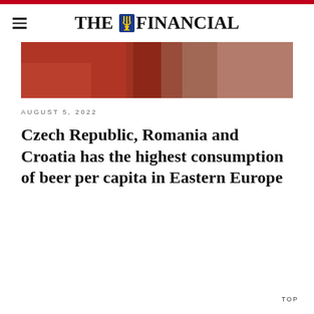THE FINANCIAL
[Figure (photo): Partial photo showing people, red and warm tones visible at top of article]
AUGUST 5, 2022
Czech Republic, Romania and Croatia has the highest consumption of beer per capita in Eastern Europe
TOP